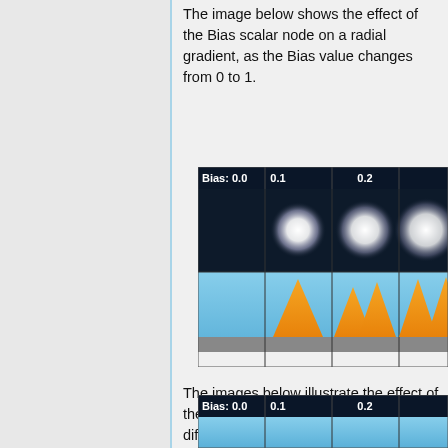The image below shows the effect of the Bias scalar node on a radial gradient, as the Bias value changes from 0 to 1.
[Figure (illustration): Grid showing Bias scalar node effect on radial gradient at values 0.0, 0.1, 0.2 and beyond. Top row shows white glowing blobs on dark background; bottom row shows orange mountain-like shapes on sky background.]
The images below illustrate the effect of the Bias scalar node on the three different Edge profiles, Smooth step, Bevel, and Radial, of the Simple shape shader.
[Figure (illustration): Grid showing Bias scalar node effect at 0.0, 0.1, 0.2 and beyond on edge profiles.]